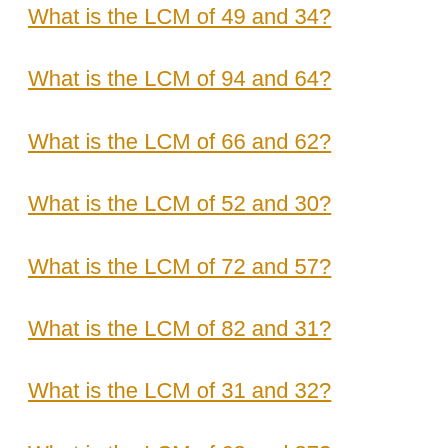What is the LCM of 49 and 34?
What is the LCM of 94 and 64?
What is the LCM of 66 and 62?
What is the LCM of 52 and 30?
What is the LCM of 72 and 57?
What is the LCM of 82 and 31?
What is the LCM of 31 and 32?
What is the LCM of 63 and 37?
What is the LCM of 28 and 12?